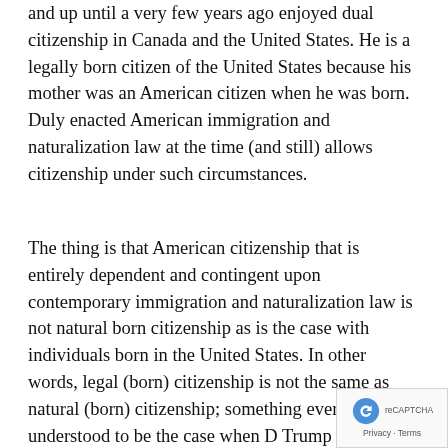and up until a very few years ago enjoyed dual citizenship in Canada and the United States. He is a legally born citizen of the United States because his mother was an American citizen when he was born. Duly enacted American immigration and naturalization law at the time (and still) allows citizenship under such circumstances.
The thing is that American citizenship that is entirely dependent and contingent upon contemporary immigration and naturalization law is not natural born citizenship as is the case with individuals born in the United States. In other words, legal (born) citizenship is not the same as natural (born) citizenship; something ever understood to be the case when D Trump and others hounded Presid Obama to produce his long form birth